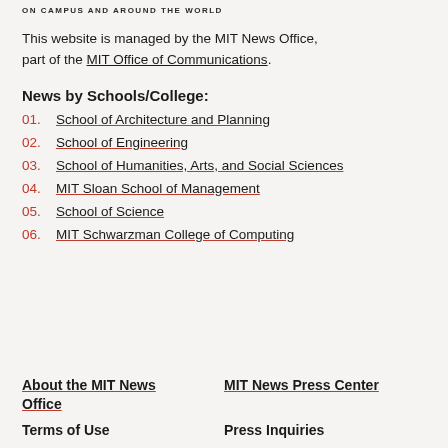ON CAMPUS AND AROUND THE WORLD
This website is managed by the MIT News Office, part of the MIT Office of Communications.
News by Schools/College:
01.  School of Architecture and Planning
02.  School of Engineering
03.  School of Humanities, Arts, and Social Sciences
04.  MIT Sloan School of Management
05.  School of Science
06.  MIT Schwarzman College of Computing
About the MIT News Office
MIT News Press Center
Terms of Use
Press Inquiries